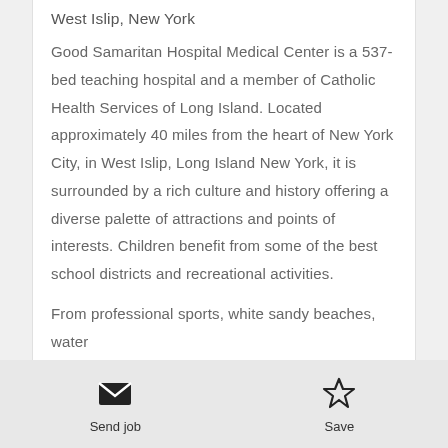West Islip, New York
Good Samaritan Hospital Medical Center is a 537-bed teaching hospital and a member of Catholic Health Services of Long Island. Located approximately 40 miles from the heart of New York City, in West Islip, Long Island New York, it is surrounded by a rich culture and history offering a diverse palette of attractions and points of interests. Children benefit from some of the best school districts and recreational activities.
From professional sports, white sandy beaches, water
Send job | Save